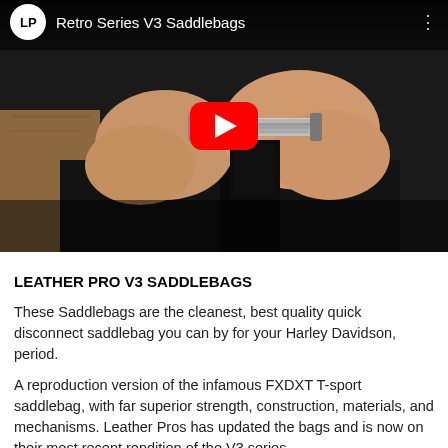[Figure (screenshot): YouTube video thumbnail showing hands holding a metal bolt/quick-disconnect hardware component against a dark leather background. Video title bar reads 'Retro Series V3 Saddlebags' with an LP logo. A red YouTube play button is centered on the image.]
LEATHER PRO V3 SADDLEBAGS
These Saddlebags are the cleanest, best quality quick disconnect saddlebag you can by for your Harley Davidson, period.
A reproduction version of the infamous FXDXT T-sport saddlebag, with far superior strength, construction, materials, and mechanisms. Leather Pros has updated the bags and is now on their most recent rendition of the V3 series.